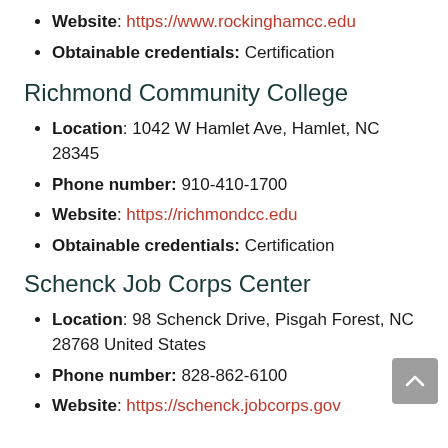Website: https://www.rockinghamcc.edu
Obtainable credentials: Certification
Richmond Community College
Location: 1042 W Hamlet Ave, Hamlet, NC 28345
Phone number: 910-410-1700
Website: https://richmondcc.edu
Obtainable credentials: Certification
Schenck Job Corps Center
Location: 98 Schenck Drive, Pisgah Forest, NC 28768 United States
Phone number: 828-862-6100
Website: https://schenck.jobcorps.gov